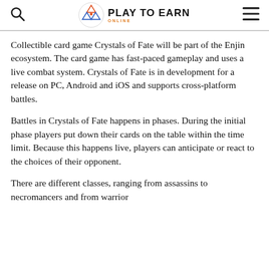Play To Earn Online
Collectible card game Crystals of Fate will be part of the Enjin ecosystem. The card game has fast-paced gameplay and uses a live combat system. Crystals of Fate is in development for a release on PC, Android and iOS and supports cross-platform battles.
Battles in Crystals of Fate happens in phases. During the initial phase players put down their cards on the table within the time limit. Because this happens live, players can anticipate or react to the choices of their opponent.
There are different classes, ranging from assassins to necromancers and from warrior